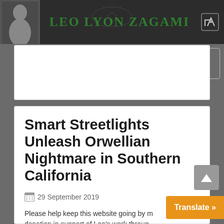LEO LYON ZAGAMI
Smart Streetlights Unleash Orwellian Nightmare in Southern California
29 September 2019
Please help keep this website going by making a donation in support of Leo's work through